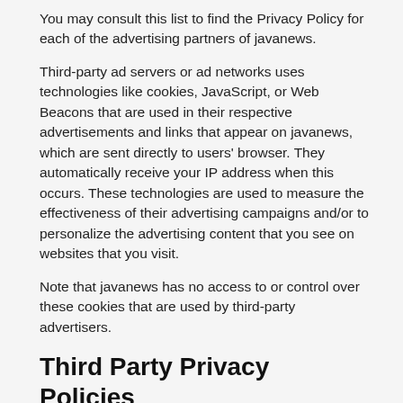You may consult this list to find the Privacy Policy for each of the advertising partners of javanews.
Third-party ad servers or ad networks uses technologies like cookies, JavaScript, or Web Beacons that are used in their respective advertisements and links that appear on javanews, which are sent directly to users' browser. They automatically receive your IP address when this occurs. These technologies are used to measure the effectiveness of their advertising campaigns and/or to personalize the advertising content that you see on websites that you visit.
Note that javanews has no access to or control over these cookies that are used by third-party advertisers.
Third Party Privacy Policies
javanews's Privacy Policy does not apply to other advertisers or websites. Thus, we are advising you to consult the respective Privacy Policies of these third-party ad servers for more detailed information. It may include their practices and instructions about how to opt-out of certain options.